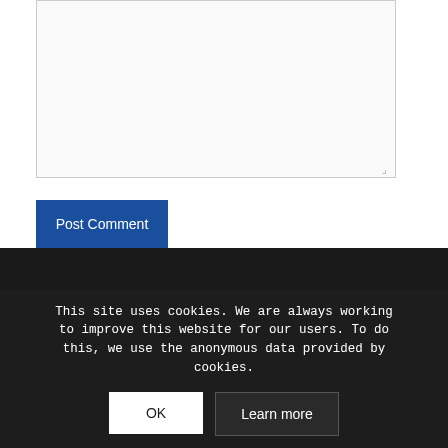[Figure (other): A large empty textarea input box with a resize handle in the bottom-right corner]
Post Comment
Contact Us
Religious Free...
PO Box 1793...
This site uses cookies. We are always working to improve this website for our users. To do this, we use the anonymous data provided by cookies.
OK
Learn more